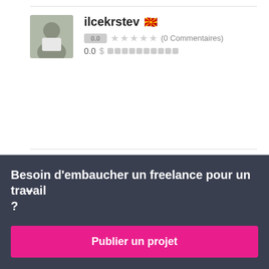[Figure (photo): Profile photo of user ilcekrstev - man in white shirt]
ilcekrstev 🇲🇰
0.0 ★★★★★ (0 Commentaires)
0.0 $ ██████████
[Figure (photo): Profile photo of user dc1017 - woman]
dc1017 🇮🇩
$110 USD / heure
Besoin d'embaucher un freelance pour un travail ?
Publier un projet